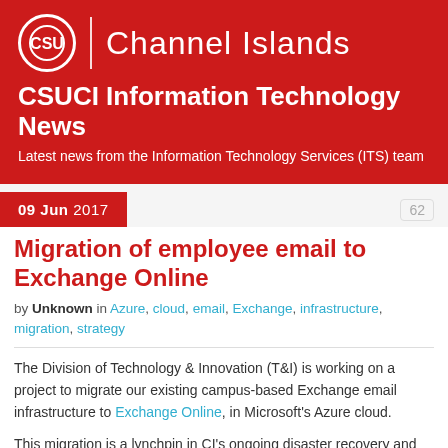[Figure (logo): CSU Channel Islands logo with circular seal and institution name]
CSUCI Information Technology News
Latest news from the Information Technology Services (ITS) team
09 Jun 2017
62
Migration of employee email to Exchange Online
by Unknown in Azure, cloud, email, Exchange, infrastructure, migration, strategy
The Division of Technology & Innovation (T&I) is working on a project to migrate our existing campus-based Exchange email infrastructure to Exchange Online, in Microsoft's Azure cloud.
This migration is a lynchpin in CI's ongoing disaster recovery and